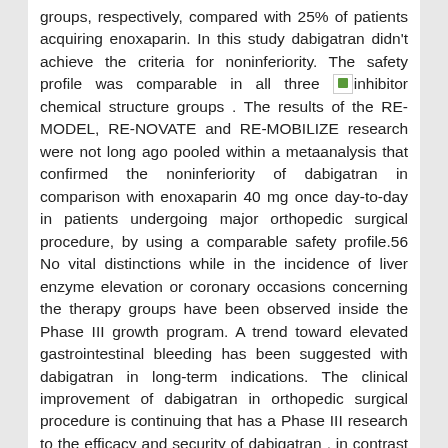groups, respectively, compared with 25% of patients acquiring enoxaparin. In this study dabigatran didn't achieve the criteria for noninferiority. The safety profile was comparable in all three [inhibitor chemical structure] groups . The results of the RE-MODEL, RE-NOVATE and RE-MOBILIZE research were not long ago pooled within a metaanalysis that confirmed the noninferiority of dabigatran in comparison with enoxaparin 40 mg once day-to-day in patients undergoing major orthopedic surgical procedure, by using a comparable safety profile.56 No vital distinctions while in the incidence of liver enzyme elevation or coronary occasions concerning the therapy groups have been observed inside the Phase III growth program. A trend toward elevated gastrointestinal bleeding has been suggested with dabigatran in long-term indications. The clinical improvement of dabigatran in orthopedic surgical procedure is continuing that has a Phase III research to the efficacy and security of dabigatran , in contrast with enoxaparin forty mg for 28?35 days, in patients undergoing elective THR . In yet another examine,